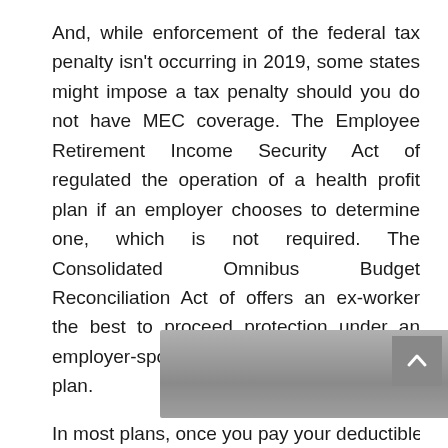And, while enforcement of the federal tax penalty isn't occurring in 2019, some states might impose a tax penalty should you do not have MEC coverage. The Employee Retirement Income Security Act of regulated the operation of a health profit plan if an employer chooses to determine one, which is not required. The Consolidated Omnibus Budget Reconciliation Act of offers an ex-worker the best to proceed protection under an employer-sponsored group health profit plan.
[Figure (photo): Partial photograph visible at bottom of text block, appears to show a person or object, gray toned image cropped at page edge]
In most plans, once you pay your deductible